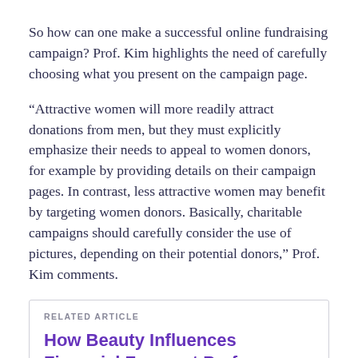So how can one make a successful online fundraising campaign? Prof. Kim highlights the need of carefully choosing what you present on the campaign page.
“Attractive women will more readily attract donations from men, but they must explicitly emphasize their needs to appeal to women donors, for example by providing details on their campaign pages. In contrast, less attractive women may benefit by targeting women donors. Basically, charitable campaigns should carefully consider the use of pictures, depending on their potential donors,” Prof. Kim comments.
RELATED ARTICLE
How Beauty Influences Financial Forecast Performance
Speaking on future research directions, Prof. Kim says